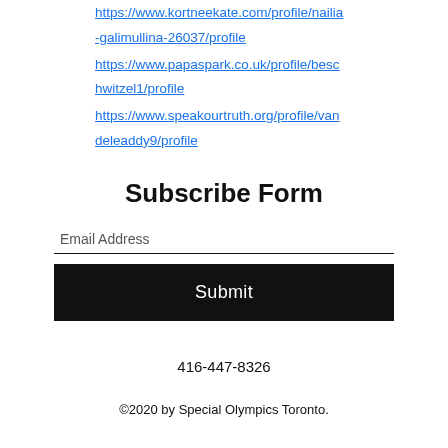https://www.kortneekate.com/profile/nailia-galimullina-26037/profile
https://www.papaspark.co.uk/profile/beschwitzel1/profile
https://www.speakourtruth.org/profile/vandeleaddy9/profile
Subscribe Form
Email Address
Submit
416-447-8326
©2020 by Special Olympics Toronto.